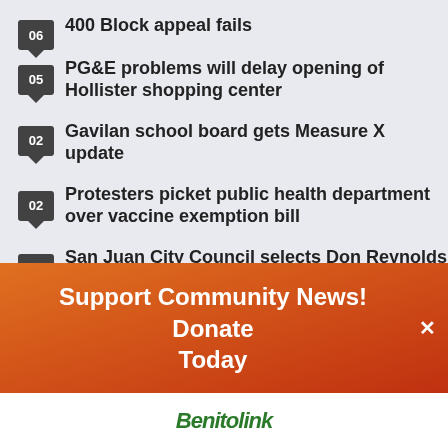400 Block appeal fails
PG&E problems will delay opening of Hollister shopping center
Gavilan school board gets Measure X update
Protesters picket public health department over vaccine exemption bill
San Juan City Council selects Don Reynolds for city manager
Support Community News! Donate Today
[Figure (logo): Green italic logo at the bottom of the page]